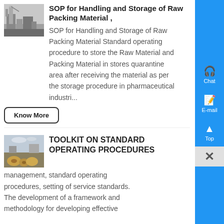[Figure (photo): Industrial facility with silo/dust collection equipment]
SOP for Handling and Storage of Raw Packing Material ,
SOP for Handling and Storage of Raw Packing Material Standard operating procedure to store the Raw Material and Packing Material in stores quarantine area after receiving the material as per the storage procedure in pharmaceutical industri...
Know More
[Figure (photo): Outdoor storage area with large cylindrical objects and industrial materials]
TOOLKIT ON STANDARD OPERATING PROCEDURES
management, standard operating procedures, setting of service standards. The development of a framework and methodology for developing effective